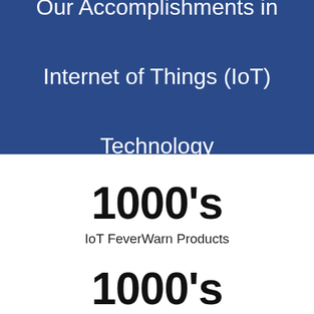Our Accomplishments in Internet of Things (IoT) Technology
1000's
IoT FeverWarn Products
1000's